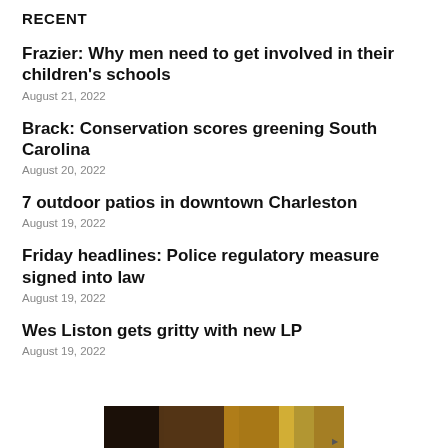RECENT
Frazier: Why men need to get involved in their children's schools
August 21, 2022
Brack: Conservation scores greening South Carolina
August 20, 2022
7 outdoor patios in downtown Charleston
August 19, 2022
Friday headlines: Police regulatory measure signed into law
August 19, 2022
Wes Liston gets gritty with new LP
August 19, 2022
[Figure (photo): Partial image strip at bottom of page, appears to be a nature or food photograph, partially visible]